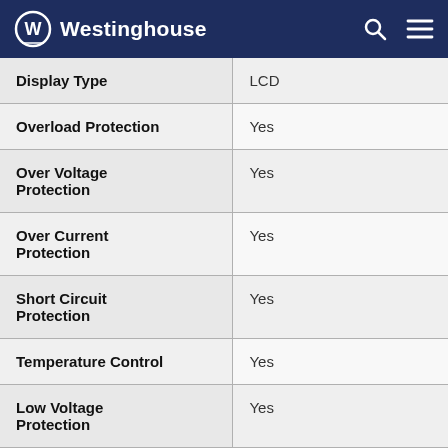Westinghouse
| Feature | Value |
| --- | --- |
| Display Type | LCD |
| Overload Protection | Yes |
| Over Voltage Protection | Yes |
| Over Current Protection | Yes |
| Short Circuit Protection | Yes |
| Temperature Control | Yes |
| Low Voltage Protection | Yes |